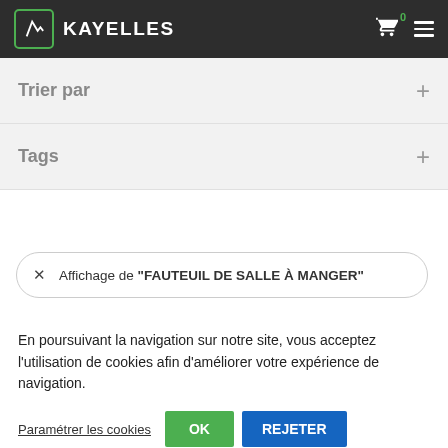KAYELLES
Trier par
Tags
Affichage de "FAUTEUIL DE SALLE À MANGER"
En poursuivant la navigation sur notre site, vous acceptez l'utilisation de cookies afin d'améliorer votre expérience de navigation.
Paramétrer les cookies
OK
REJETER